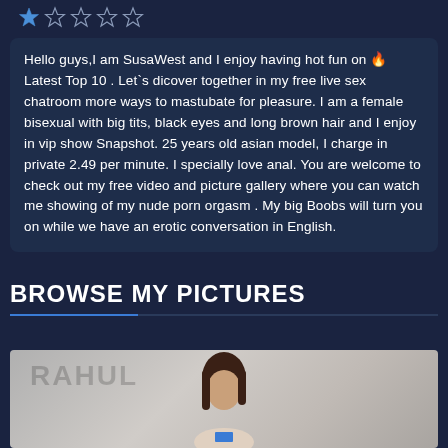[Figure (other): Five star rating icons, first star filled blue, remaining four unfilled/outline]
Hello guys,I am SusaWest and I enjoy having hot fun on 🔥Latest Top 10 . Let`s dicover together in my free live sex chatroom more ways to mastubate for pleasure. I am a female bisexual with big tits, black eyes and long brown hair and I enjoy in vip show Snapshot. 25 years old asian model, I charge in private 2.49 per minute. I specially love anal. You are welcome to check out my free video and picture gallery where you can watch me showing of my nude porn orgasm . My big Boobs will turn you on while we have an erotic conversation in English.
BROWSE MY PICTURES
[Figure (photo): Photo of a young woman with long dark brown hair, partial face visible, against a light background with graffiti-like markings]